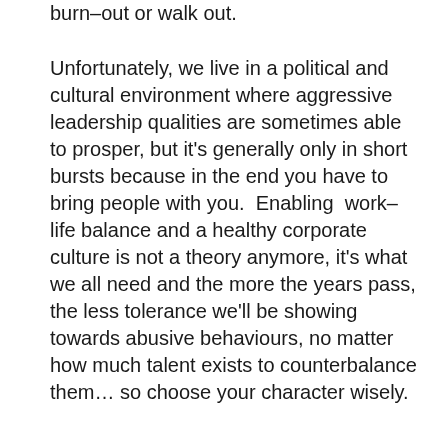burn–out or walk out.
Unfortunately, we live in a political and cultural environment where aggressive leadership qualities are sometimes able to prosper, but it's generally only in short bursts because in the end you have to bring people with you.  Enabling  work–life balance and a healthy corporate culture is not a theory anymore, it's what we all need and the more the years pass, the less tolerance we'll be showing towards abusive behaviours, no matter how much talent exists to counterbalance them… so choose your character wisely.